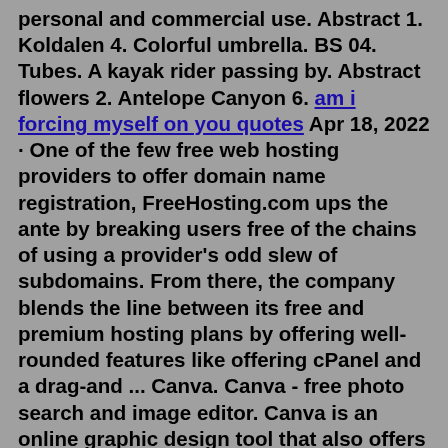personal and commercial use. Abstract 1. Koldalen 4. Colorful umbrella. BS 04. Tubes. A kayak rider passing by. Abstract flowers 2. Antelope Canyon 6. am i forcing myself on you quotes Apr 18, 2022 · One of the few free web hosting providers to offer domain name registration, FreeHosting.com ups the ante by breaking users free of the chains of using a provider's odd slew of subdomains. From there, the company blends the line between its free and premium hosting plans by offering well-rounded features like offering cPanel and a drag-and ... Canva. Canva - free photo search and image editor. Canva is an online graphic design tool that also offers free stock photos. One advantage of using Canva is that you can quickly turn an image into a custom graphic to use on social media or your blog. 9. Life of Pix. Life of Pix - free and premium photos.1. BunnyCDN. BunnyCDN is one of the top CDN providers available on the internet. This one is highly reliable, powerful, and offers you a fast experience. They designed the CDN for performance,